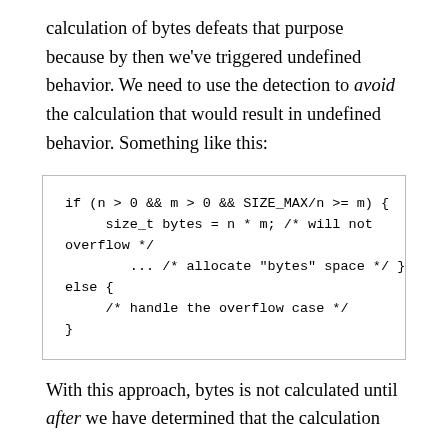calculation of bytes defeats that purpose because by then we've triggered undefined behavior. We need to use the detection to avoid the calculation that would result in undefined behavior. Something like this:
With this approach, bytes is not calculated until after we have determined that the calculation